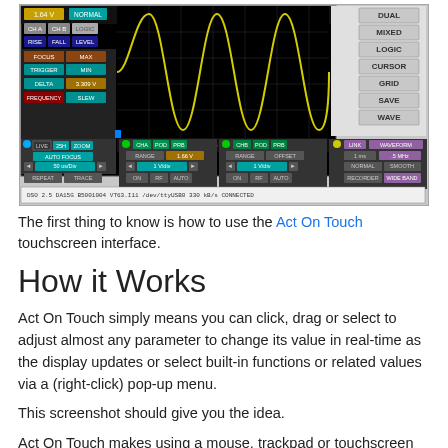[Figure (screenshot): Screenshot of DSO 2.5 DA15G oscilloscope software interface showing a yellow sine wave on a dark grid display, with various control panels, buttons for CH A, CH B, LOGIC, RISE, FALL, LEVEL, FOCUS, TRIGGER, DELTA, FREQUENCY, and settings for DUAL, MIXED, LOGIC, CURSOR, GRID, SAVE, WAVE modes. Status bar shows DSO 2.5 DA15G B5001004 VT63.I11 /dev/ttyUSB0 330 kB/s CONNECTED.]
The first thing to know is how to use the Act On Touch touchscreen interface.
How it Works
Act On Touch simply means you can click, drag or select to adjust almost any parameter to change its value in real-time as the display updates or select built-in functions or related values via a (right-click) pop-up menu.
This screenshot should give you the idea.
Act On Touch makes using a mouse, trackpad or touchscreen